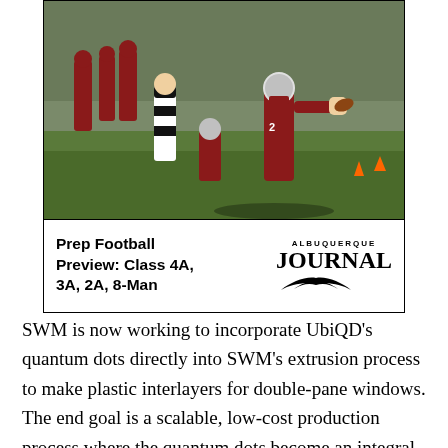[Figure (photo): Football game photo showing players in red uniforms and a referee in black and white stripes. A player in a red helmet appears to be catching or carrying the ball on a green field with orange cones visible in the background.]
Prep Football Preview: Class 4A, 3A, 2A, 8-Man — ALBUQUERQUE JOURNAL
SWM is now working to incorporate UbiQD's quantum dots directly into SWM's extrusion process to make plastic interlayers for double-pane windows. The end goal is a scalable, low-cost production process where the quantum dots become an integral part of standard interlayers already used throughout the window industry.